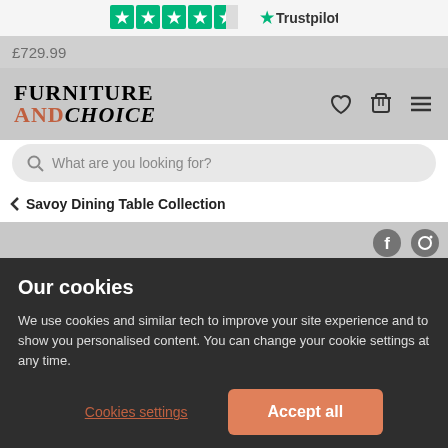[Figure (screenshot): Trustpilot rating bar showing 4.5 stars and Trustpilot logo]
£729.99
[Figure (logo): Furniture and Choice logo]
[Figure (screenshot): Search bar with placeholder 'What are you looking for?']
< Savoy Dining Table Collection
[Figure (photo): Product image area with dark background showing dining furniture, with Facebook and Pinterest social icons]
Our cookies
We use cookies and similar tech to improve your site experience and to show you personalised content. You can change your cookie settings at any time.
Cookies settings
Accept all